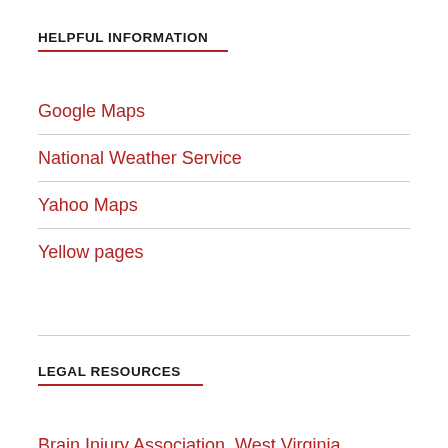HELPFUL INFORMATION
Google Maps
National Weather Service
Yahoo Maps
Yellow pages
LEGAL RESOURCES
Brain Injury Association, West Virginia